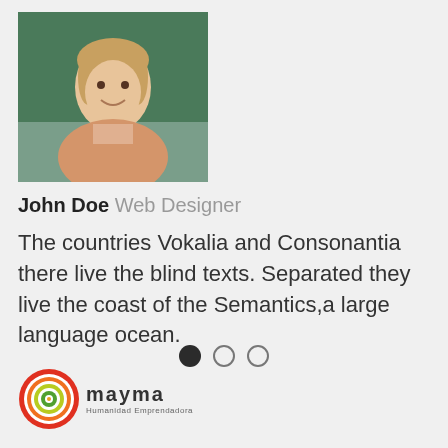[Figure (photo): Photo of a smiling woman (John Doe) in front of a chalkboard background]
John Doe Web Designer
The countries Vokalia and Consonantia there live the blind texts. Separated they live the coast of the Semantics,a large language ocean.
[Figure (other): Pagination dots: one filled circle and two empty circles]
[Figure (logo): Mayma logo with colorful concentric circles and text 'mayma' with tagline 'Humanidad Emprendadora']